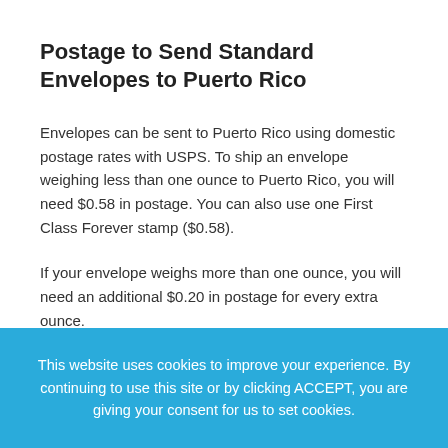Postage to Send Standard Envelopes to Puerto Rico
Envelopes can be sent to Puerto Rico using domestic postage rates with USPS. To ship an envelope weighing less than one ounce to Puerto Rico, you will need $0.58 in postage. You can also use one First Class Forever stamp ($0.58).
If your envelope weighs more than one ounce, you will need an additional $0.20 in postage for every extra ounce.
This website uses cookies to improve your experience. By continuing to use this site or by clicking ACCEPT, you are giving your consent for us to set cookies.